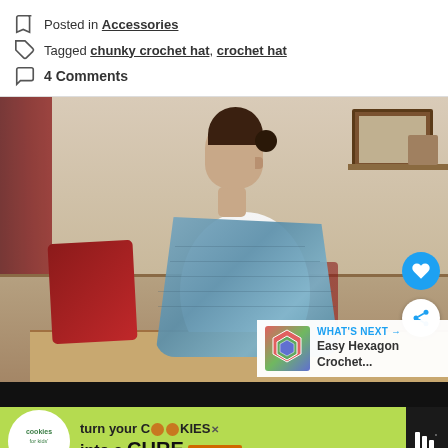Posted in Accessories
Tagged chunky crochet hat, crochet hat
4 Comments
[Figure (photo): Woman wearing a blue crocheted shawl/wrap sitting on a beige sofa with red cushions, looking to the side. Room background with curtains and a framed picture. Includes heart and share action buttons, and a 'What's Next - Easy Hexagon Crochet...' overlay thumbnail.]
[Figure (photo): Advertisement banner: 'cookies for kids cancer - turn your COOKIES into a CURE LEARN HOW']